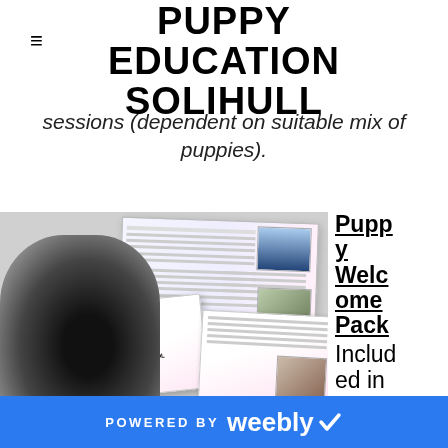PUPPY EDUCATION SOLIHULL
sessions (dependent on suitable mix of puppies).
[Figure (photo): Photo collage showing a puppy, Puppy School manual booklet, and a brochure spread with photos of dogs and people.]
Puppy Welcome Pack Included in
POWERED BY weebly